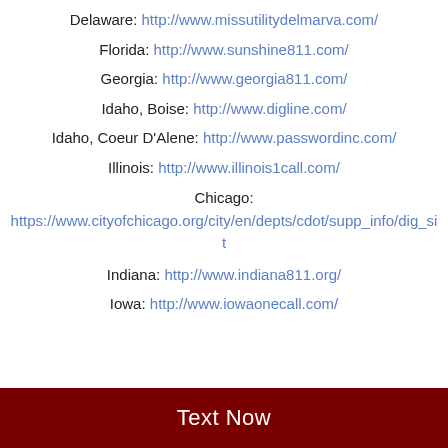Delaware: http://www.missutilitydelmarva.com/
Florida: http://www.sunshine811.com/
Georgia: http://www.georgia811.com/
Idaho, Boise: http://www.digline.com/
Idaho, Coeur D'Alene: http://www.passwordinc.com/
Illinois: http://www.illinois1call.com/
Chicago: https://www.cityofchicago.org/city/en/depts/cdot/supp_info/dig_sit
Indiana: http://www.indiana811.org/
Iowa: http://www.iowaonecall.com/
Text Now